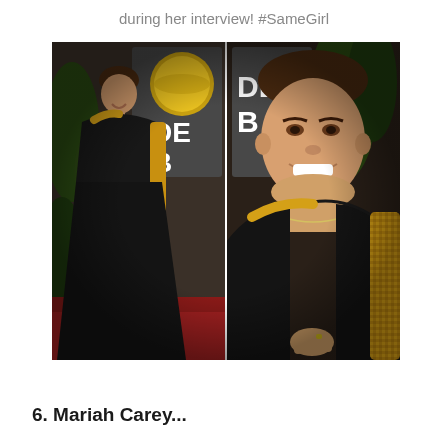during her interview! #SameGirl
[Figure (photo): Two side-by-side photos of a woman wearing a black off-shoulder gown with gold sequined sleeves and shoulder detail, standing on a red carpet at what appears to be the Golden Globes awards ceremony. The left photo shows her full figure in the gown, and the right photo is a closer cropped shot of the upper body and face.]
6. Mariah Carey...